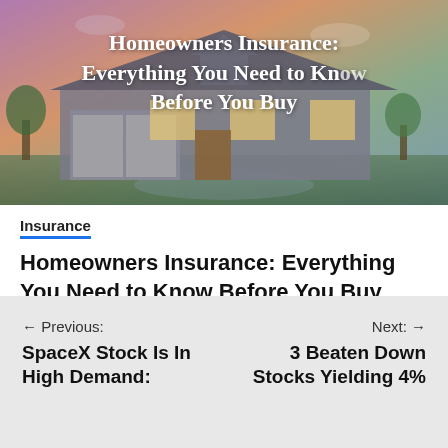[Figure (photo): Hero image of a suburban house at dusk/dawn with purple and golden sky, with white text overlay reading 'Homeowners Insurance: Everything You Need to Know Before You Buy']
Insurance
Homeowners Insurance: Everything You Need to Know Before You Buy
March 1, 2022  Dividend Power
← Previous: SpaceX Stock Is In High Demand:
Next: → 3 Beaten Down Stocks Yielding 4%